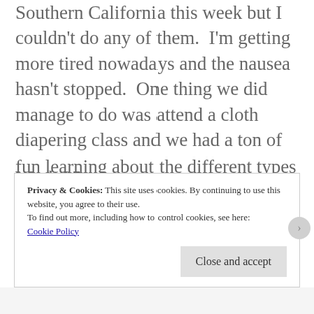Southern California this week but I couldn't do any of them.  I'm getting more tired nowadays and the nausea hasn't stopped.  One thing we did manage to do was attend a cloth diapering class and we had a ton of fun learning about the different types of diapers.
Week 35
This week I headed over to one of my friend's house because she wanted to give me clothes that her daughter doesn't use
Privacy & Cookies: This site uses cookies. By continuing to use this website, you agree to their use.
To find out more, including how to control cookies, see here: Cookie Policy
Close and accept